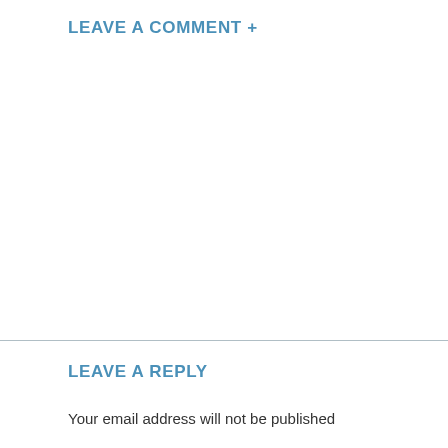LEAVE A COMMENT +
LEAVE A REPLY
Your email address will not be published